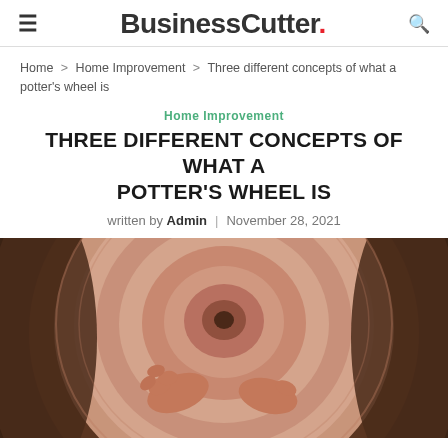≡ BusinessCutter. 🔍
Home > Home Improvement > Three different concepts of what a potter's wheel is
Home Improvement
THREE DIFFERENT CONCEPTS OF WHAT A POTTER'S WHEEL IS
written by Admin | November 28, 2021
[Figure (photo): Close-up photo of hands shaping clay on a spinning potter's wheel, viewed from above, showing concentric clay rings with hands at center bottom.]